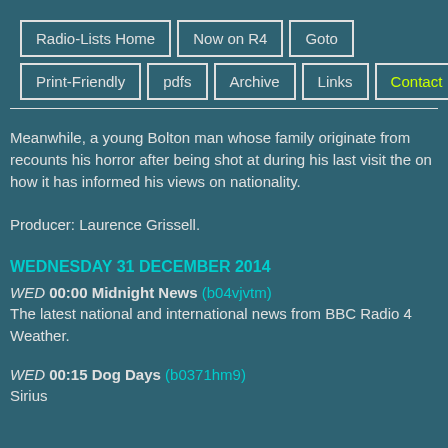Radio-Lists Home | Now on R4 | Goto | Print-Friendly | pdfs | Archive | Links | Contact
Meanwhile, a young Bolton man whose family originate from recounts his horror after being shot at during his last visit there on how it has informed his views on nationality.

Producer: Laurence Grissell.
WEDNESDAY 31 DECEMBER 2014
WED 00:00 Midnight News (b04vjvtm) The latest national and international news from BBC Radio 4 Weather.
WED 00:15 Dog Days (b0371hm9) Sirius